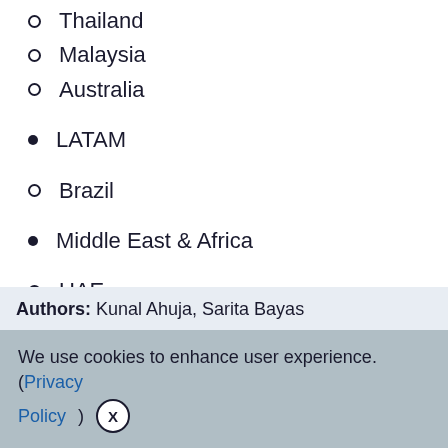Thailand
Malaysia
Australia
LATAM
Brazil
Middle East & Africa
UAE
Saudi Arabia
South Africa
Authors: Kunal Ahuja, Sarita Bayas
We use cookies to enhance user experience. (Privacy Policy) X